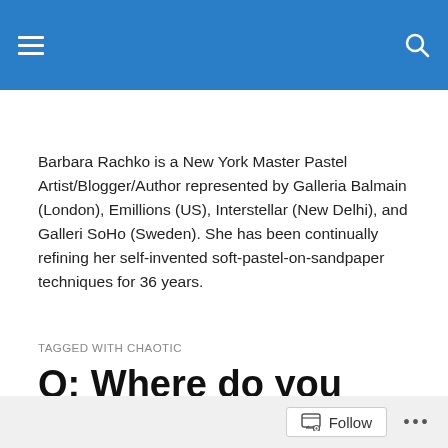Barbara Rachko is a New York Master Pastel Artist/Blogger/Author represented by Galleria Balmain (London), Emillions (US), Interstellar (New Delhi), and Galleri SoHo (Sweden). She has been continually refining her self-invented soft-pastel-on-sandpaper techniques for 36 years.
TAGGED WITH CHAOTIC
Q: Where do you create your art? (Question from a reader)